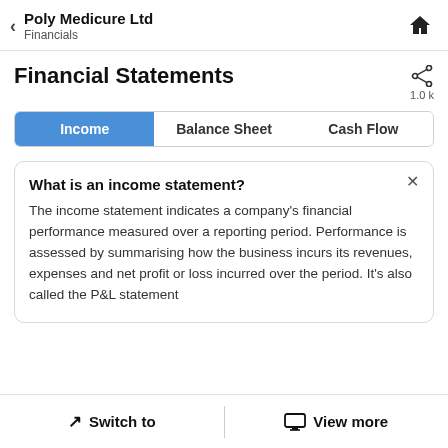Poly Medicure Ltd
Financials
Financial Statements
Income | Balance Sheet | Cash Flow
What is an income statement?
The income statement indicates a company's financial performance measured over a reporting period. Performance is assessed by summarising how the business incurs its revenues, expenses and net profit or loss incurred over the period. It's also called the P&L statement
Switch to | View more